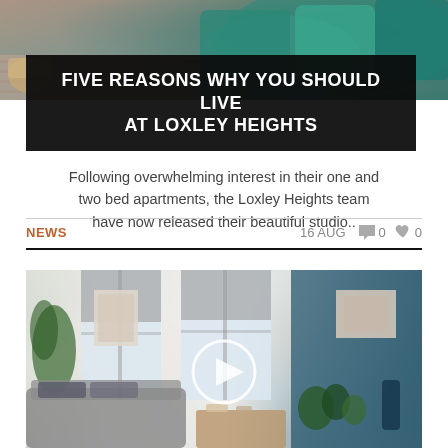[Figure (photo): Top portion of a room interior with teal/green cushions and throws on a sofa, hardwood floor visible]
FIVE REASONS WHY YOU SHOULD LIVE AT LOXLEY HEIGHTS
Following overwhelming interest in their one and two bed apartments, the Loxley Heights team have now released their beautiful studio..
NEWS   16 AUG   0   0
[Figure (photo): Interior of a modern apartment living room with grey sofas, blue accent wall, plants, artwork, and a video play button overlay]